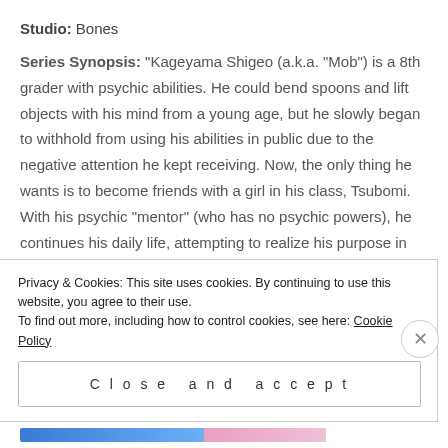Studio: Bones
Series Synopsis: “Kageyama Shigeo (a.k.a. “Mob”) is a 8th grader with psychic abilities. He could bend spoons and lift objects with his mind from a young age, but he slowly began to withhold from using his abilities in public due to the negative attention he kept receiving. Now, the only thing he wants is to become friends with a girl in his class, Tsubomi. With his psychic “mentor” (who has no psychic powers), he continues his daily life, attempting to realize his purpose in life.”
Privacy & Cookies: This site uses cookies. By continuing to use this website, you agree to their use.
To find out more, including how to control cookies, see here: Cookie Policy
Close and accept